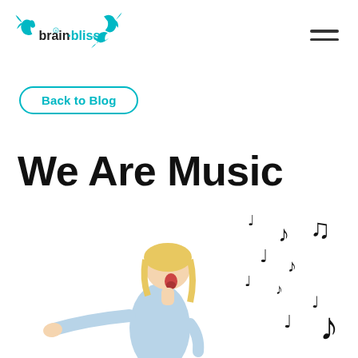brain-bliss [logo with dolphins]
Back to Blog
We Are Music
[Figure (photo): Woman in light blue top singing/dancing with musical notes floating around her on a white background]